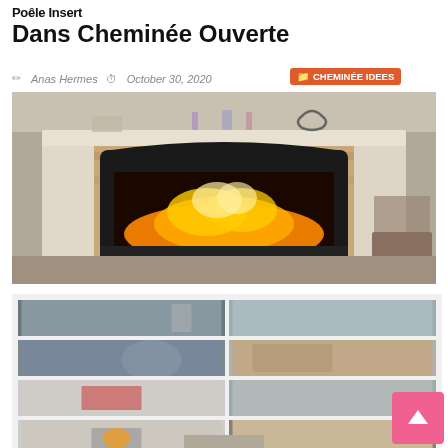Poêle Insert Dans Cheminée Ouverte
Anas Hermes  October 30, 2020  CHEMINÉE IDEES
[Figure (photo): Open fireplace with insert wood stove glowing with orange fire, set in white mantelpiece with brick surround, decorative objects on mantle shelf, living room background]
[Figure (photo): Gallery grid of 9 thumbnail images showing various fireplace and chimney insert installations in home settings]